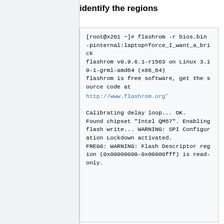identify the regions
[root@x201 ~]# flashrom -r bios.bin -pinternal:laptop=force_I_want_a_brick
flashrom v0.9.6.1-r1563 on Linux 3.10-1-grml-amd64 (x86_64)
flashrom is free software, get the source code at http://www.flashrom.org

Calibrating delay loop... OK.
Found chipset "Intel QM57". Enabling flash write... WARNING: SPI Configuration Lockdown activated.
FREG0: WARNING: Flash Descriptor region (0x00000000-0x00000fff) is read-only.